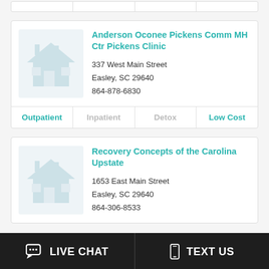[Figure (other): Partial card with four column dividers at top of page]
Anderson Oconee Pickens Comm MH Ctr Pickens Clinic
337 West Main Street
Easley, SC 29640
864-878-6830
Outpatient
Inpatient
Detox
Low Cost
Recovery Concepts of the Carolina Upstate
1653 East Main Street
Easley, SC 29640
864-306-8533
LIVE CHAT   TEXT US